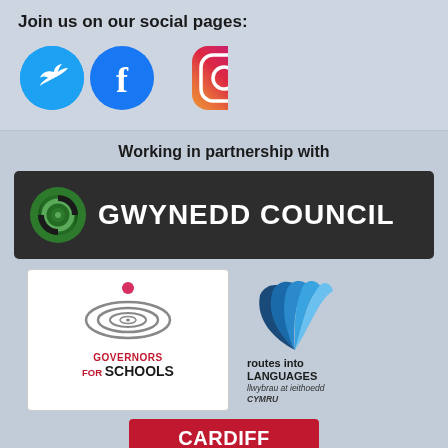Join us on our social pages:
[Figure (logo): Social media icons: Twitter (blue bird), Facebook (blue f), Instagram (gradient camera)]
Working in partnership with
[Figure (logo): Gwynedd Council logo - dark banner with green spiral logo and white bold text GWYNEDD COUNCIL]
[Figure (logo): Governors for Schools logo - white box with concentric circles and pink dot, text GOVERNORS FOR SCHOOLS]
[Figure (logo): Routes into Languages Cymru logo - blue fan/feather icon with text routes into LANGUAGES llwybrau at ieithoedd CYMRU]
[Figure (logo): Cardiff University / Prifysgol Caerdydd logo - red background with white bold text]